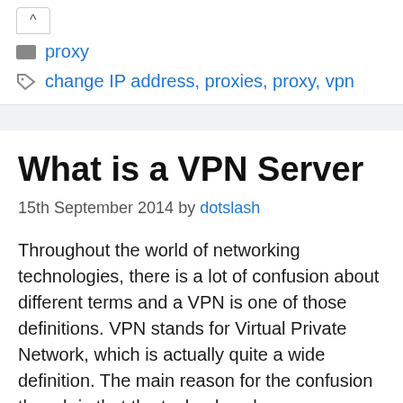proxy
change IP address, proxies, proxy, vpn
What is a VPN Server
15th September 2014 by dotslash
Throughout the world of networking technologies, there is a lot of confusion about different terms and a VPN is one of those definitions. VPN stands for Virtual Private Network, which is actually quite a wide definition. The main reason for the confusion though is that the technology has